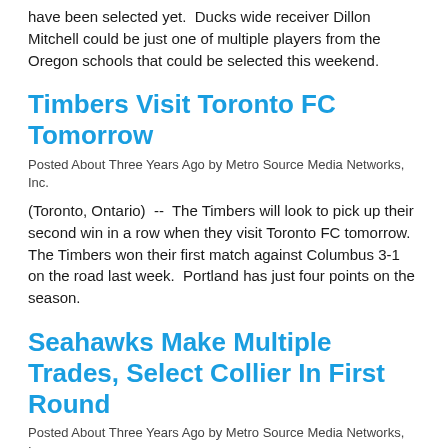have been selected yet.  Ducks wide receiver Dillon Mitchell could be just one of multiple players from the Oregon schools that could be selected this weekend.
Timbers Visit Toronto FC Tomorrow
Posted About Three Years Ago by Metro Source Media Networks, Inc.
(Toronto, Ontario)  --  The Timbers will look to pick up their second win in a row when they visit Toronto FC tomorrow.  The Timbers won their first match against Columbus 3-1 on the road last week.  Portland has just four points on the season.
Seahawks Make Multiple Trades, Select Collier In First Round
Posted About Three Years Ago by Metro Source Media Networks, Inc.